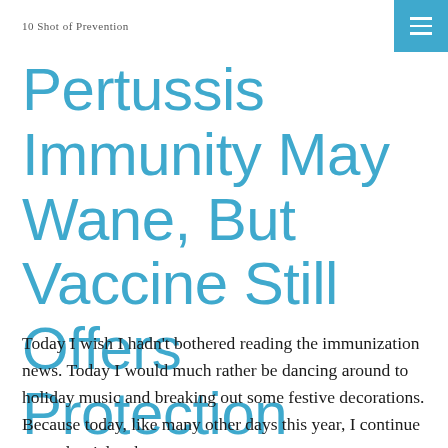10 Shot of Prevention  ☰
Pertussis Immunity May Wane, But Vaccine Still Offers Protection
Nov 30, 2012
Today I wish I hadn't bothered reading the immunization news. Today I would much rather be dancing around to holiday music and breaking out some festive decorations. Because today, like many other days this year, I continue to read articles that